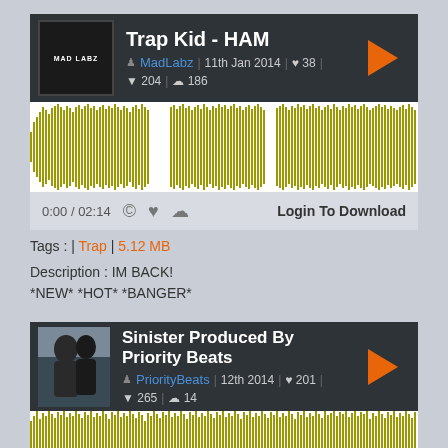Trap Kid - HAM
MadLabz | 11th Jan 2014 ♥ 38 ▼ 204 ☁ 186
[Figure (other): Audio waveform visualization for Trap Kid - HAM, olive/green colored waveform]
0:00 / 02:14 © ♥ ☁ Login To Download
Tags : | Trap | 5.12 MB
Description : IM BACK! *NEW* *HOT* *BANGER*
Sinister Produced By Priority Beats
PriorityBeats | 12th 2014 ♥ 201 ▼ 265 ☁ 14
[Figure (other): Audio waveform visualization for Sinister Produced By Priority Beats, olive/green colored waveform]